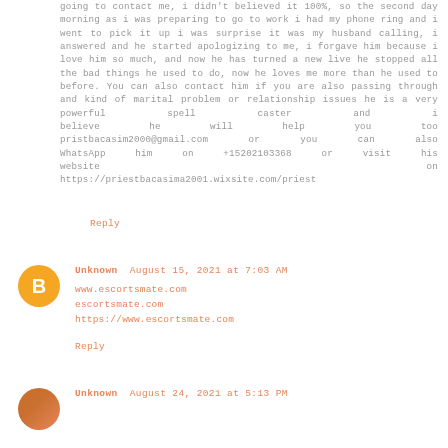going to contact me, i didn't believed it 100%, so the second day morning as i was preparing to go to work i had my phone ring and i went to pick it up i was surprise it was my husband calling, i answered and he started apologizing to me, i forgave him because i love him so much, and now he has turned a new live he stopped all the bad things he used to do, now he loves me more than he used to before. You can also contact him if you are also passing through and kind of marital problem or relationship issues he is a very powerful spell caster and i believe he will help you too pristbacasim2000@gmail.com or you can also WhatsApp him on +15202103368 or visit his website on https://priestbacasima2001.wixsite.com/priest
Reply
Unknown August 15, 2021 at 7:03 AM
www.escortsmate.com
escortsmate.com
https://www.escortsmate.com
Reply
Unknown August 24, 2021 at 5:13 PM